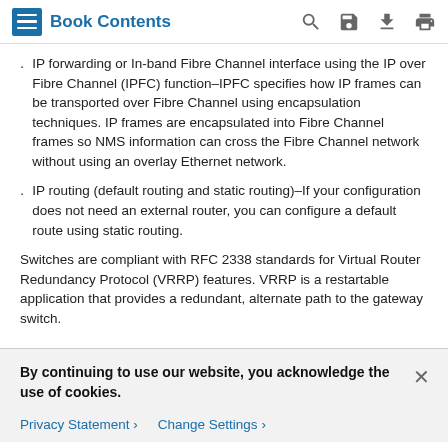Book Contents
IP forwarding or In-band Fibre Channel interface using the IP over Fibre Channel (IPFC) function–IPFC specifies how IP frames can be transported over Fibre Channel using encapsulation techniques. IP frames are encapsulated into Fibre Channel frames so NMS information can cross the Fibre Channel network without using an overlay Ethernet network.
IP routing (default routing and static routing)–If your configuration does not need an external router, you can configure a default route using static routing.
Switches are compliant with RFC 2338 standards for Virtual Router Redundancy Protocol (VRRP) features. VRRP is a restartable application that provides a redundant, alternate path to the gateway switch.
By continuing to use our website, you acknowledge the use of cookies.
Privacy Statement  Change Settings